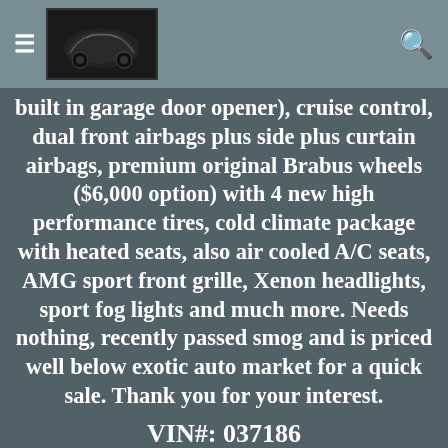≡ [car logo] 🔍
built in garage door opener), cruise control, dual front airbags plus side plus curtain airbags, premium original Brabus wheels ($6,000 option) with 4 new high performance tires, cold climate package with heated seats, also air cooled A/C seats, AMG sport front grille, Xenon headlights, sport fog lights and much more. Needs nothing, recently passed smog and is priced well below exotic auto market for a quick sale. Thank you for your interest.
VIN#: 037186